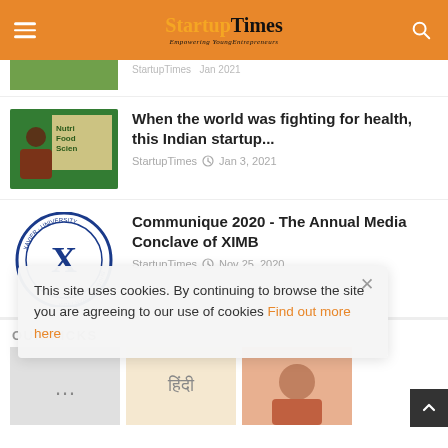StartupTimes — Empowering YoungEntrepreneurs
[Figure (photo): Partial top article thumbnail — green/outdoor background, partially cropped]
[partial article meta, cropped]
[Figure (photo): Thumbnail of man speaking at NutriFood Science event]
When the world was fighting for health, this Indian startup...
StartupTimes  Jan 3, 2021
[Figure (logo): Xavier University Bhubaneswar India circular logo with blue X emblem]
Communique 2020 - The Annual Media Conclave of XIMB
StartupTimes  Nov 25, 2020
OUR PICKS
This site uses cookies. By continuing to browse the site you are agreeing to our use of cookies Find out more here
[Figure (photo): Partially visible bottom picks thumbnails including Hindi text and person photo]